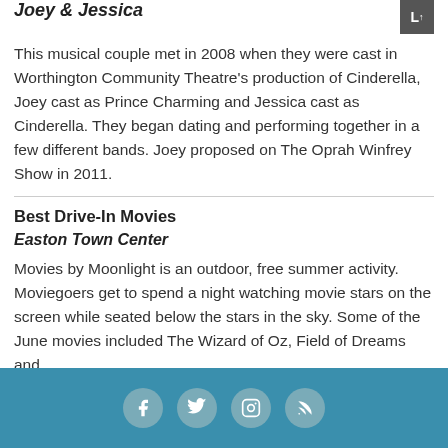Joey & Jessica
This musical couple met in 2008 when they were cast in Worthington Community Theatre's production of Cinderella, Joey cast as Prince Charming and Jessica cast as Cinderella. They began dating and performing together in a few different bands. Joey proposed on The Oprah Winfrey Show in 2011.
Best Drive-In Movies
Easton Town Center
Movies by Moonlight is an outdoor, free summer activity. Moviegoers get to spend a night watching movie stars on the screen while seated below the stars in the sky. Some of the June movies included The Wizard of Oz, Field of Dreams and
Social icons: Facebook, Twitter, Instagram, RSS